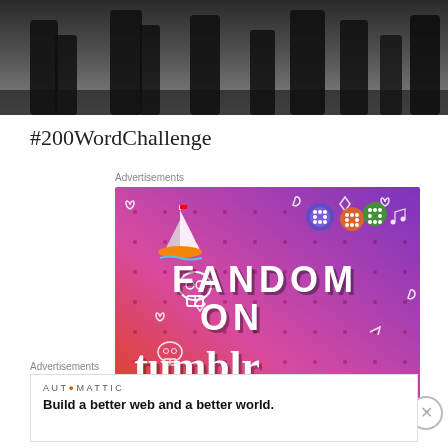[Figure (photo): Black and white photo showing dark tree silhouettes or shadowy figures from below, cropped to top portion]
#200WordChallenge
Advertisements
[Figure (illustration): Fandom on Tumblr advertisement with colorful gradient background (orange to purple), featuring the text FANDOM ON tumblr with doodle illustrations including a sailboat, skull, dice, hearts, music notes, and other decorative elements]
Advertisements
[Figure (screenshot): Automattic advertisement showing company name and tagline: Build a better web and a better world.]